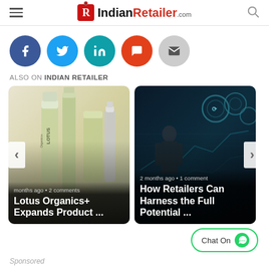IndianRetailer.com
[Figure (infographic): Social sharing buttons: Facebook (blue), Twitter (light blue), LinkedIn (teal), Comments/chat (orange-red), Email (gray)]
ALSO ON INDIAN RETAILER
[Figure (infographic): Article card: Lotus Organics+ Expands Product ... | months ago • 2 comments]
[Figure (infographic): Article card: How Retailers Can Harness the Full Potential ... | 2 months ago • 1 comment]
Chat On
Sponsored